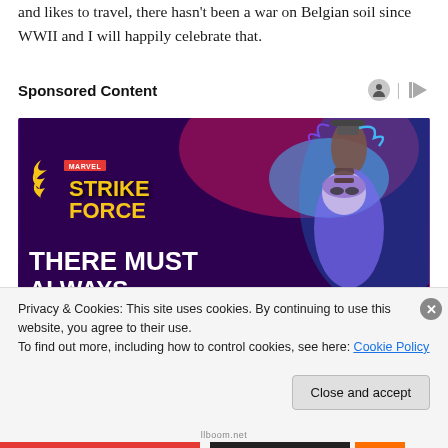and likes to travel, there hasn’t been a war on Belgian soil since WWII and I will happily celebrate that.
Sponsored Content
[Figure (photo): Marvel Strike Force game advertisement showing a female superhero lifting a hammer with lightning effects. Text reads 'MARVEL Strike Force' and 'THERE MUST ALWAYS']
Privacy & Cookies: This site uses cookies. By continuing to use this website, you agree to their use.
To find out more, including how to control cookies, see here: Cookie Policy
Close and accept